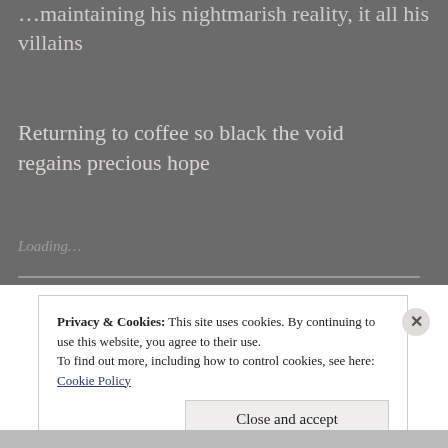...maintaining his nightmarish reality, it all his villains
Returning to coffee so black the void regains precious hope
Loading...
Privacy & Cookies: This site uses cookies. By continuing to use this website, you agree to their use.
To find out more, including how to control cookies, see here: Cookie Policy
Close and accept